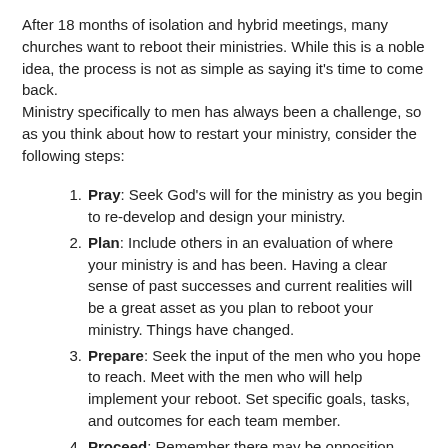After 18 months of isolation and hybrid meetings, many churches want to reboot their ministries. While this is a noble idea, the process is not as simple as saying it's time to come back. Ministry specifically to men has always been a challenge, so as you think about how to restart your ministry, consider the following steps:
Pray: Seek God's will for the ministry as you begin to re-develop and design your ministry.
Plan: Include others in an evaluation of where your ministry is and has been. Having a clear sense of past successes and current realities will be a great asset as you plan to reboot your ministry. Things have changed.
Prepare: Seek the input of the men who you hope to reach. Meet with the men who will help implement your reboot. Set specific goals, tasks, and outcomes for each team member.
Proceed: Remember there may be opposition from guys who have attended on-line church services while